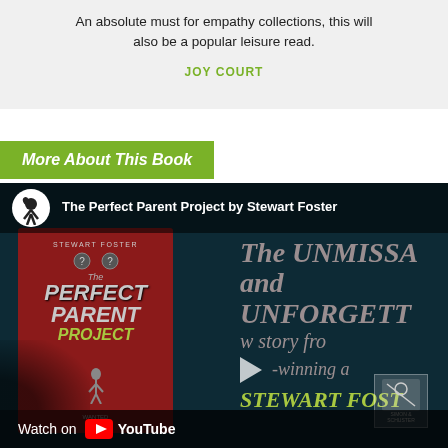An absolute must for empathy collections, this will also be a popular leisure read.
JOY COURT
More About This Book
[Figure (screenshot): YouTube video thumbnail for 'The Perfect Parent Project by Stewart Foster'. Shows a dark teal background with the book cover on the left (red cover with stylized title text), and partially visible promotional text on the right reading 'The UNMISSA... and UNFORGETT... w story fro... -winning a... STEWART FOST...'. A circular avatar logo appears in the video header. A play button triangle is visible. A publisher logo (Simon & Schuster) is in the bottom right. The bottom bar shows 'Watch on YouTube'.]